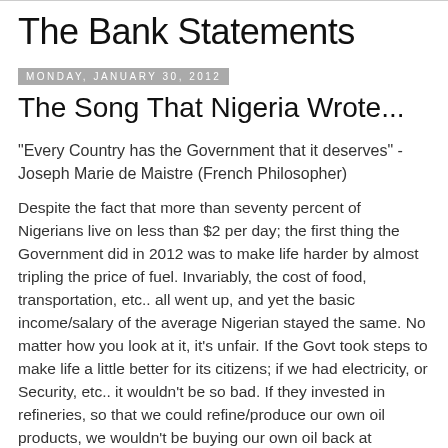The Bank Statements
Monday, January 30, 2012
The Song That Nigeria Wrote...
"Every Country has the Government that it deserves" - Joseph Marie de Maistre (French Philosopher)
Despite the fact that more than seventy percent of Nigerians live on less than $2 per day; the first thing the Government did in 2012 was to make life harder by almost tripling the price of fuel. Invariably, the cost of food, transportation, etc.. all went up, and yet the basic income/salary of the average Nigerian stayed the same. No matter how you look at it, it's unfair. If the Govt took steps to make life a little better for its citizens; if we had electricity, or Security, etc.. it wouldn't be so bad. If they invested in refineries, so that we could refine/produce our own oil products, we wouldn't be buying our own oil back at exorbitant prices, and there would be no...